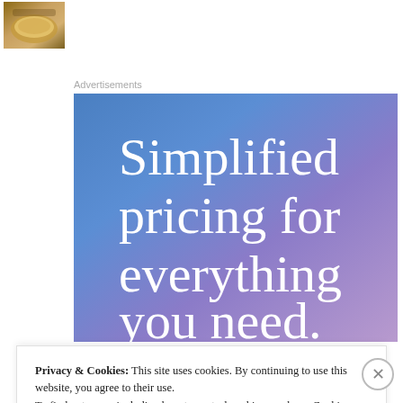[Figure (photo): Small thumbnail image of a food dish, appears to be a bowl or plate of food]
Advertisements
[Figure (infographic): Advertisement banner with blue-to-purple gradient background and white serif text reading 'Simplified pricing for everything you need.']
Privacy & Cookies:  This site uses cookies. By continuing to use this website, you agree to their use.
To find out more, including how to control cookies, see here: Cookie Policy
Close and accept